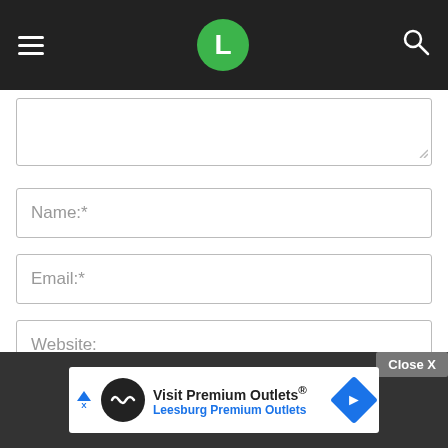[Figure (screenshot): Navigation bar with hamburger menu, green circle logo with letter L, and search icon on dark background]
[Figure (screenshot): Partially visible comment textarea with resize handle]
Name:*
Email:*
Website:
Save my name, email, and website in this browser for the next time I comment.
Notify me of new posts by email.
[Figure (screenshot): Advertisement banner: Visit Premium Outlets® Leesburg Premium Outlets with Close X button]